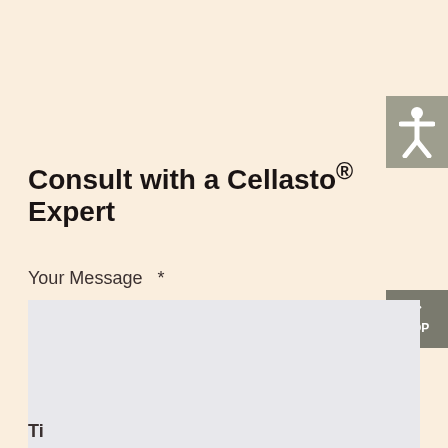Consult with a Cellasto® Expert
Your Message *
[Figure (other): Empty message text area input box with light grey background]
Ti...